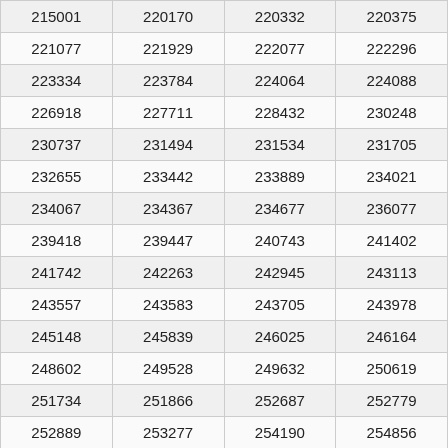| 215001 | 220170 | 220332 | 220375 |
| 221077 | 221929 | 222077 | 222296 |
| 223334 | 223784 | 224064 | 224088 |
| 226918 | 227711 | 228432 | 230248 |
| 230737 | 231494 | 231534 | 231705 |
| 232655 | 233442 | 233889 | 234021 |
| 234067 | 234367 | 234677 | 236077 |
| 239418 | 239447 | 240743 | 241402 |
| 241742 | 242263 | 242945 | 243113 |
| 243557 | 243583 | 243705 | 243978 |
| 245148 | 245839 | 246025 | 246164 |
| 248602 | 249528 | 249632 | 250619 |
| 251734 | 251866 | 252687 | 252779 |
| 252889 | 253277 | 254190 | 254856 |